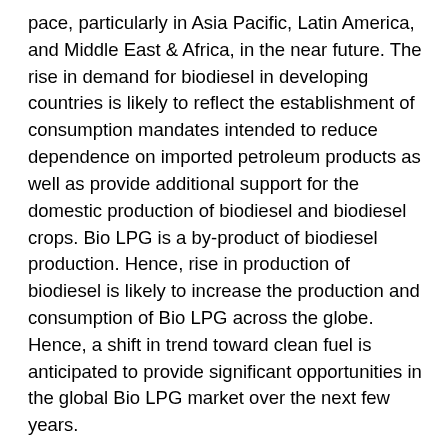pace, particularly in Asia Pacific, Latin America, and Middle East & Africa, in the near future. The rise in demand for biodiesel in developing countries is likely to reflect the establishment of consumption mandates intended to reduce dependence on imported petroleum products as well as provide additional support for the domestic production of biodiesel and biodiesel crops. Bio LPG is a by-product of biodiesel production. Hence, rise in production of biodiesel is likely to increase the production and consumption of Bio LPG across the globe. Hence, a shift in trend toward clean fuel is anticipated to provide significant opportunities in the global Bio LPG market over the next few years.
Based on feedstock, the bio-oil segment dominated the global Bio LPG market in 2019. Bio-oil is sourced from algae, animal fat, plant oil, rapeseeds, etc., and is used in the production of bio-fuels on a large scale. In terms of end user, the industrial segment dominated the global Bio LPG